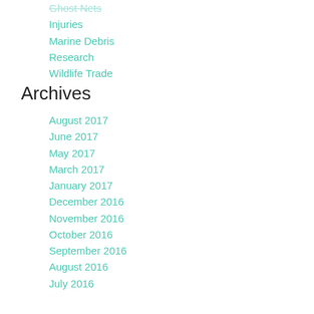Ghost Nets
Injuries
Marine Debris
Research
Wildlife Trade
Archives
August 2017
June 2017
May 2017
March 2017
January 2017
December 2016
November 2016
October 2016
September 2016
August 2016
July 2016